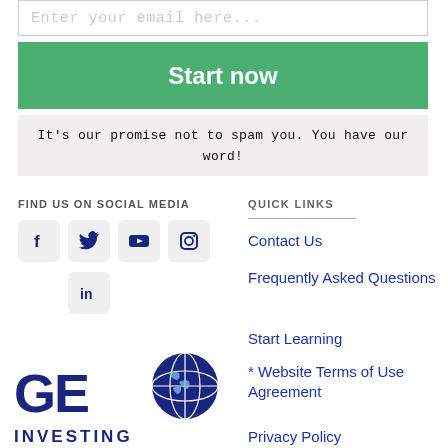Enter your email here...
Start now
It's our promise not to spam you. You have our word!
FIND US ON SOCIAL MEDIA
[Figure (illustration): Social media icons: Facebook, Twitter, YouTube, Instagram, LinkedIn]
QUICK LINKS
Contact Us
Frequently Asked Questions
Start Learning
* Website Terms of Use Agreement
Privacy Policy
[Figure (logo): GEO Investing logo with globe graphic]